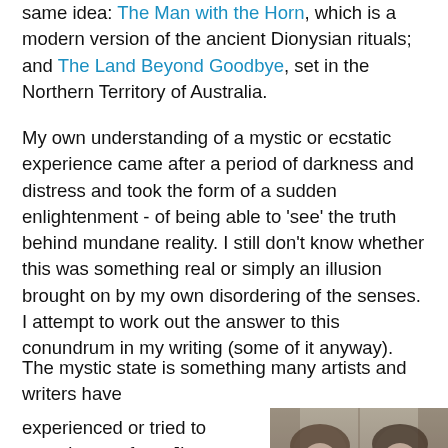same idea: The Man with the Horn, which is a modern version of the ancient Dionysian rituals; and The Land Beyond Goodbye, set in the Northern Territory of Australia.
My own understanding of a mystic or ecstatic experience came after a period of darkness and distress and took the form of a sudden enlightenment - of being able to 'see' the truth behind mundane reality. I still don't know whether this was something real or simply an illusion brought on by my own disordering of the senses. I attempt to work out the answer to this conundrum in my writing (some of it anyway).
The mystic state is something many artists and writers have experienced or tried to experience - from Jim Morrison to Van Morrison, from Walt Whitman to Bob Dylan to Russell Hoban to Vincent Van Gogh... the line is endless. It is a state some consider a form of madness - "Last night I was one with
[Figure (photo): Black and white photo of two people side by side: Patti Smith on the left and Rimbaud on the right]
Patti Smith & Rimbaud